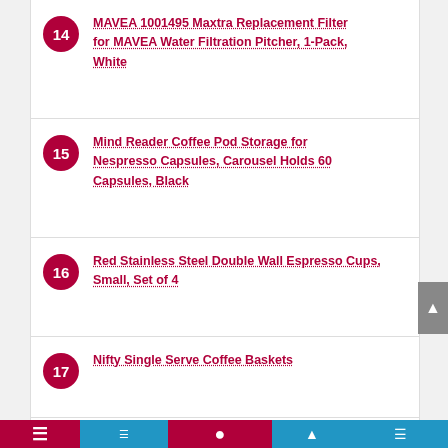14 MAVEA 1001495 Maxtra Replacement Filter for MAVEA Water Filtration Pitcher, 1-Pack, White
15 Mind Reader Coffee Pod Storage for Nespresso Capsules, Carousel Holds 60 Capsules, Black
16 Red Stainless Steel Double Wall Espresso Cups, Small, Set of 4
17 Nifty Single Serve Coffee Baskets
18 Sean Part Can Ku Coffee Machine...